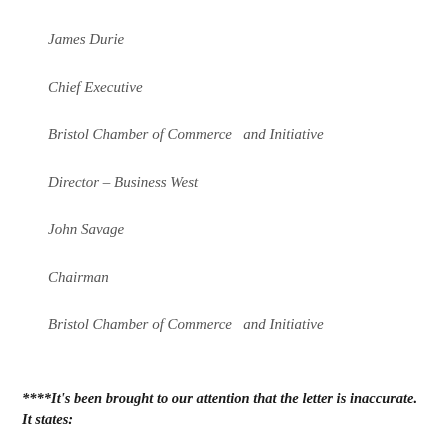James Durie
Chief Executive
Bristol Chamber of Commerce  and Initiative
Director – Business West
John Savage
Chairman
Bristol Chamber of Commerce  and Initiative
****It's been brought to our attention that the letter is inaccurate. It states: